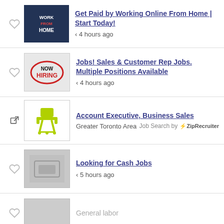Get Paid by Working Online From Home | Start Today! < 4 hours ago
Jobs! Sales & Customer Rep Jobs. Multiple Positions Available < 4 hours ago
Account Executive, Business Sales Greater Toronto Area Job Search by ZipRecruiter
Looking for Cash Jobs < 5 hours ago
General labor
[Figure (screenshot): Ad banner: LEARN WHAT YOU NEED TO KNOW WITH MODEL OVERVIEW PAGES with car image]